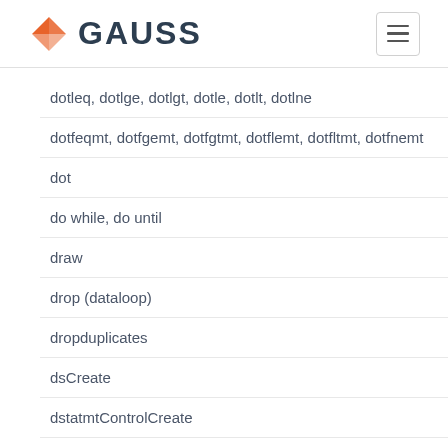GAUSS
dotleq, dotlge, dotlgt, dotle, dotlt, dotlne
dotfeqmt, dotfgemt, dotfgtmt, dotflemt, dotfltmt, dotfnemt
dot
do while, do until
draw
drop (dataloop)
dropduplicates
dsCreate
dstatmtControlCreate
dstatmt
dstat
dtdate
dtday